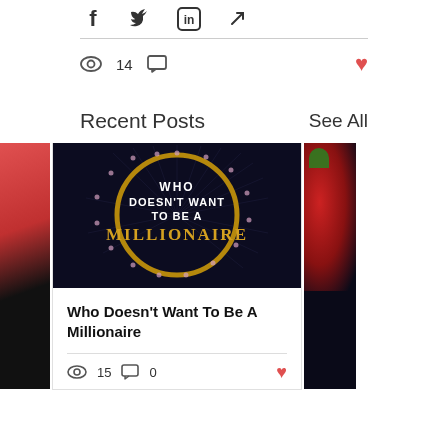[Figure (other): Social sharing icons: Facebook, Twitter, LinkedIn, link/share]
14
Recent Posts
See All
[Figure (photo): Dark circular graphic with gold ring and text: WHO DOESN'T WANT TO BE A MILLIONAIRE]
Who Doesn't Want To Be A Millionaire
15  0